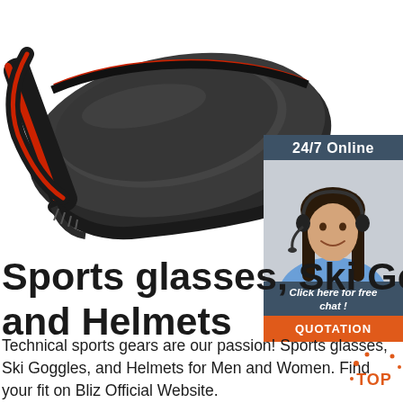[Figure (photo): Close-up photo of black and red sports sunglasses lying on a white surface, showing the dark tinted lens and frame detail.]
[Figure (infographic): 24/7 Online chat widget with dark blue/grey header showing '24/7 Online', a photo of a smiling female customer service agent wearing a headset, italic text 'Click here for free chat !' and an orange button reading 'QUOTATION'.]
Sports glasses, Ski Goggles and Helmets
Technical sports gears are our passion! Sports glasses, Ski Goggles, and Helmets for Men and Women. Find your fit on Bliz Official Website.
[Figure (other): Orange 'TOP' button with decorative dots around it, bottom right corner.]